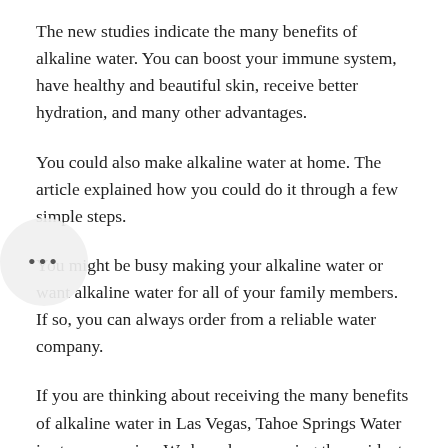The new studies indicate the many benefits of alkaline water. You can boost your immune system, have healthy and beautiful skin, receive better hydration, and many other advantages.
You could also make alkaline water at home. The article explained how you could do it through a few simple steps.
You might be busy making your alkaline water or want alkaline water for all of your family members. If so, you can always order from a reliable water company.
If you are thinking about receiving the many benefits of alkaline water in Las Vegas, Tahoe Springs Water is at your service. We have been serving the residents since 1994 with the best alkaline, Spring Mountain, and purified water in the valley.
Give us a call at 702-433-4545 to order your alkaline water